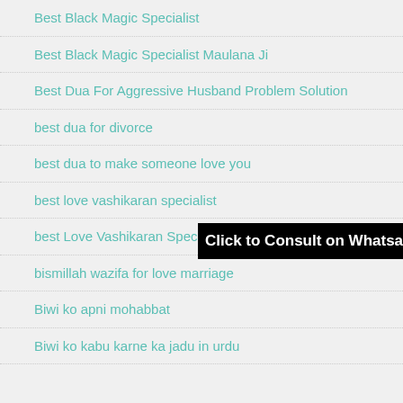Best Black Magic Specialist
Best Black Magic Specialist Maulana Ji
Best Dua For Aggressive Husband Problem Solution
best dua for divorce
best dua to make someone love you
best love vashikaran specialist
best Love Vashikaran Specialist Maulana Ji
bismillah wazifa for love marriage
Biwi ko apni mohabbat
Biwi ko kabu karne ka jadu in urdu
[Figure (screenshot): Black banner overlay with white bold text: Click to Consult on Whatsapp]